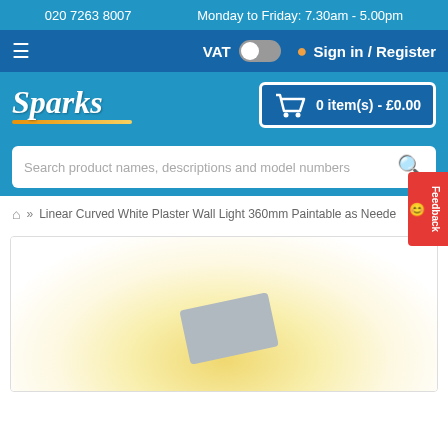020 7263 8007   Monday to Friday: 7.30am - 5.00pm
[Figure (screenshot): Navigation bar with hamburger menu, VAT toggle switch, and Sign in / Register button]
[Figure (logo): Sparks logo in italic white text with orange/gold underline, with shopping cart showing 0 item(s) - £0.00]
Search product names, descriptions and model numbers
» Linear Curved White Plaster Wall Light 360mm Paintable as Needed
[Figure (photo): Product image area with warm gradient background showing beginning of a plaster wall light product]